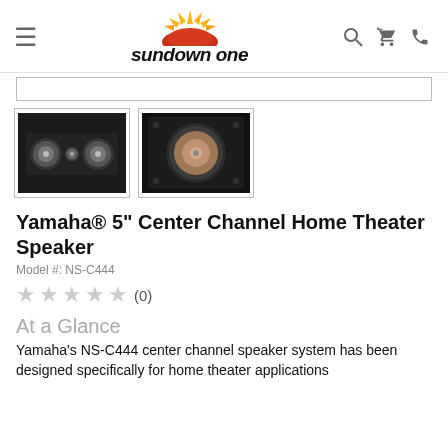sundown one
[Figure (photo): Thumbnail of Yamaha NS-C444 center channel speaker, front view showing two woofers and tweeter in black enclosure]
[Figure (photo): Thumbnail of Yamaha NS-C444 speaker, close-up front view of single woofer cone in black enclosure]
Yamaha® 5" Center Channel Home Theater Speaker
Model #: NS-C444
★ ★ ★ ★ ★ (0)
At a Glance
Yamaha's NS-C444 center channel speaker system has been designed specifically for home theater applications